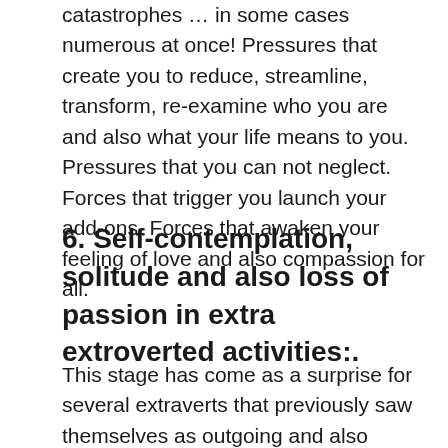catastrophes … in some cases numerous at once! Pressures that create you to reduce, streamline, transform, re-examine who you are and also what your life means to you. Pressures that you can not neglect. Forces that trigger you launch your add-ons. Forces that awaken your feeling of love and also compassion for all.
6. Self-contemplation, solitude and also loss of passion in extra extroverted activities:.
This stage has come as a surprise for several extraverts that previously saw themselves as outgoing and also involved. They state, “I don’t recognize why, however I don’t like to go out as much as previously.”